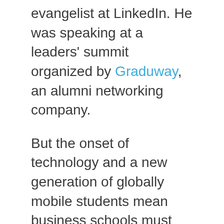evangelist at LinkedIn. He was speaking at a leaders' summit organized by Graduway, an alumni networking company.
But the onset of technology and a new generation of globally mobile students mean business schools must work harder to secure applications, donations and eventually careers for their students.
By mining vast amounts of data, they are able to link students to alumni at certain companies.
“All institutions want to have as much